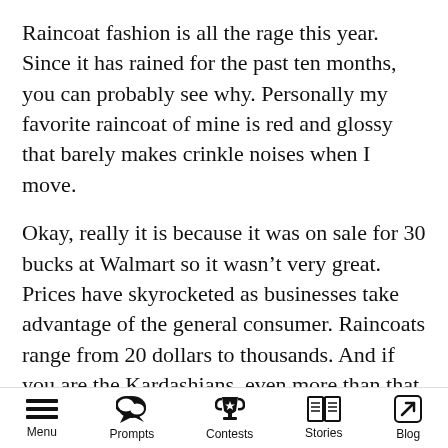Raincoat fashion is all the rage this year. Since it has rained for the past ten months, you can probably see why. Personally my favorite raincoat of mine is red and glossy that barely makes crinkle noises when I move.
Okay, really it is because it was on sale for 30 bucks at Walmart so it wasn't very great. Prices have skyrocketed as businesses take advantage of the general consumer. Raincoats range from 20 dollars to thousands. And if you are the Kardashians, even more than that.
At least it's better than the plastic poncho I was wearing the first month of rain when I thought the weather was a fluke.
Menu  Prompts  Contests  Stories  Blog